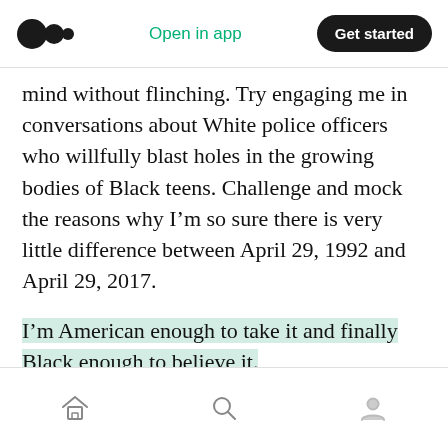Open in app | Get started
mind without flinching. Try engaging me in conversations about White police officers who willfully blast holes in the growing bodies of Black teens. Challenge and mock the reasons why I'm so sure there is very little difference between April 29, 1992 and April 29, 2017.
I'm American enough to take it and finally Black enough to believe it.
If you enjoyed this piece — be a Patron! Patreon.com/Ezziegirl//
Home | Search | Profile